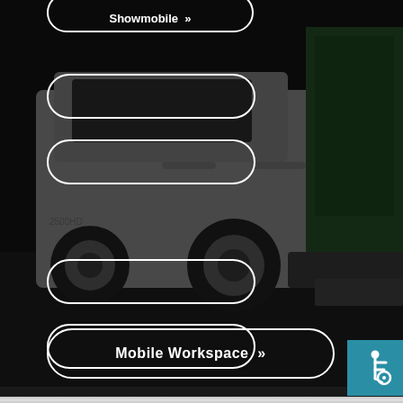[Figure (photo): Dark overlay on a photo of a white pickup truck towing equipment, with a green trailer visible on the right side. The scene is a parking lot or worksite.]
Showmobile >>
Mobile Workspace >>